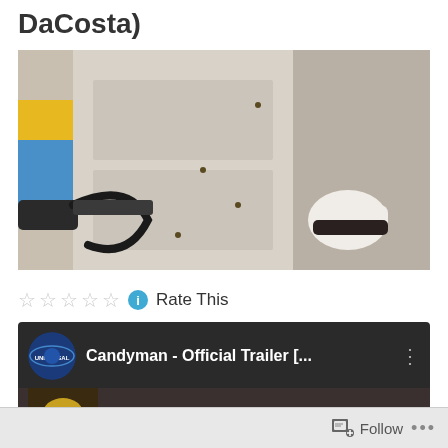DaCosta)
[Figure (photo): Movie still from Candyman showing a hook/blade weapon on the left and a gloved hand holding something on the right, against a door background with bees]
Rate This
[Figure (screenshot): YouTube video card showing Universal Pictures logo and title 'Candyman - Official Trailer [..', with three-dot menu, and a partial thumbnail of the Candyman title at the bottom]
Follow